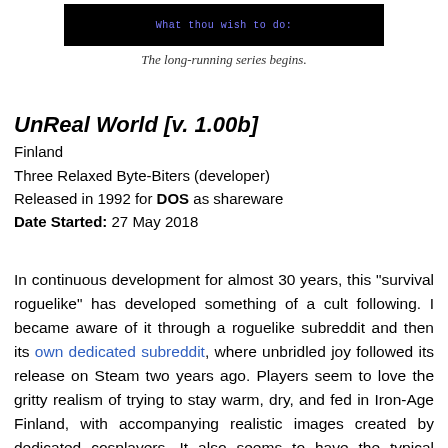[Figure (screenshot): Black screen with blue/purple text reading 'What thou wish to do:']
The long-running series begins.
UnReal World [v. 1.00b]
Finland
Three Relaxed Byte-Biters (developer)
Released in 1992 for DOS as shareware
Date Started: 27 May 2018
In continuous development for almost 30 years, this "survival roguelike" has developed something of a cult following. I became aware of it through a roguelike subreddit and then its own dedicated subreddit, where unbridled joy followed its release on Steam two years ago. Players seem to love the gritty realism of trying to stay warm, dry, and fed in Iron-Age Finland, with accompanying realistic images created by dedicated cosplayers. It also seems to have the typical appeal of open-world sandbox game in which your skills improve with use. (The modern game's 28 skills include "Hideworking," "Timbercraft," and "Agriculture.") I gather it plays something like Skyrim if it took five times as long to